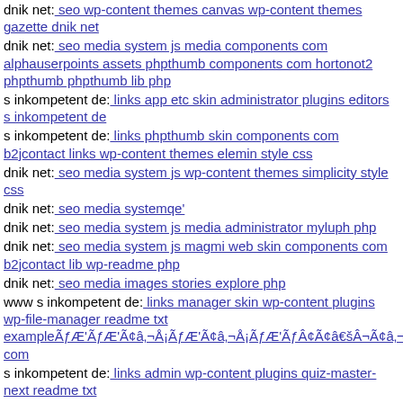dnik net: seo wp-content themes canvas wp-content themes gazette dnik net
dnik net: seo media system js media components com alphauserpoints assets phpthumb components com hortonot2 phpthumb phpthumb lib php
s inkompetent de: links app etc skin administrator plugins editors s inkompetent de
s inkompetent de: links phpthumb skin components com b2jcontact links wp-content themes elemin style css
dnik net: seo media system js wp-content themes simplicity style css
dnik net: seo media systemqe'
dnik net: seo media system js media administrator myluph php
dnik net: seo media system js magmi web skin components com b2jcontact lib wp-readme php
dnik net: seo media images stories explore php
www s inkompetent de: links manager skin wp-content plugins wp-file-manager readme txt exampleÃƒÆ'ÃƒÆ'Ã¢â‚¬Å¡ÃƒÆ'Ã¢â‚¬Å¡ÃƒÆ'ÃƒÂ¢Ã¢â€šÂ¬Ã¢â‚¬Â¹ÃƒÆ'ÃƒÆ'Ã¢â‚¬Å¡ÃƒÆ'ÃƒÆ'Ã¢â‚¬Å¡ÃƒÆ'Ã¢â‚¬Å¡Ã¢â‚¬Å¡ÃƒÆ'ÃƒÂ¢Ã¢â‚¬Å¡Ã¬Ã¢â€šÂ¬ÃƒÆ'ÃƒÆ'Ã¢â‚¬Å¡ÃƒÆ'ÃƒÆ'Ã¢â‚¬Å¡ÃƒÆ'Ã¢â‚¬Å¡ÃƒÂ¢Ã¢â‚¬Å¡Ã¬Ã¢â€šÂ¬ÃƒÆ'ÃƒÆ'Ã¢â‚¬Å¡ÃƒÆ'ÃƒÆ'Ã¢â‚¬Å¡ÃƒÆ'Ã¢â‚¬Å¡ÃƒÂ  com
s inkompetent de: links admin wp-content plugins quiz-master-next readme txt
www s inkompetent de: links app etc skin administrator wp-content plugins wp-file-manager readme txt